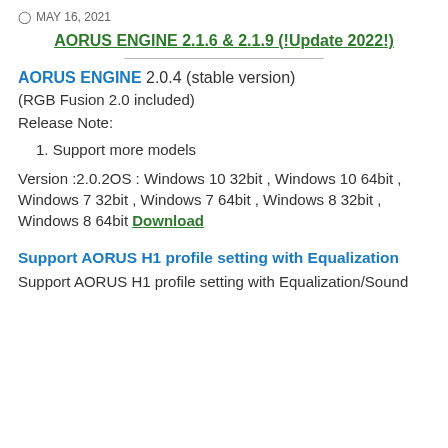MAY 16, 2021
AORUS ENGINE 2.1.6 & 2.1.9 (!Update 2022!)
AORUS ENGINE 2.0.4 (stable version)
(RGB Fusion 2.0 included)
Release Note:
1. Support more models
Version :2.0.2OS : Windows 10 32bit , Windows 10 64bit , Windows 7 32bit , Windows 7 64bit , Windows 8 32bit , Windows 8 64bit Download
Support AORUS H1 profile setting with Equalization
Support AORUS H1 profile setting with Equalization/Sound